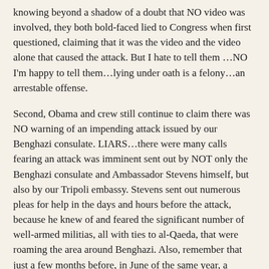knowing beyond a shadow of a doubt that NO video was involved, they both bold-faced lied to Congress when first questioned, claiming that it was the video and the video alone that caused the attack. But I hate to tell them …NO I'm happy to tell them…lying under oath is a felony…an arrestable offense.
Second, Obama and crew still continue to claim there was NO warning of an impending attack issued by our Benghazi consulate. LIARS…there were many calls fearing an attack was imminent sent out by NOT only the Benghazi consulate and Ambassador Stevens himself, but also by our Tripoli embassy. Stevens sent out numerous pleas for help in the days and hours before the attack, because he knew of and feared the significant number of well-armed militias, all with ties to al-Qaeda, that were roaming the area around Benghazi. Also, remember that just a few months before, in June of the same year, a terrorist attack on the British Ambassador to Libya was attempted (thankfully it failed) causing both Britain and the International Red Cross to close their Benghazi offices…and the Red Cross just does NOT pick up and run without justification.
These events in June alone should have served as a warning to